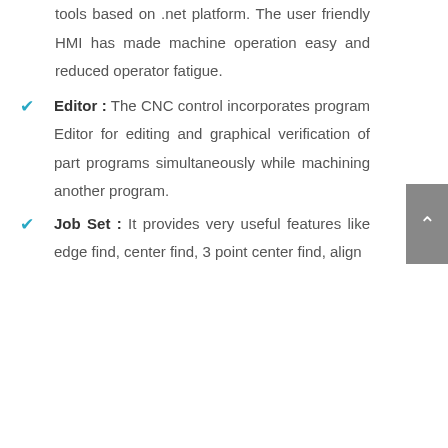tools based on .net platform. The user friendly HMI has made machine operation easy and reduced operator fatigue.
Editor : The CNC control incorporates program Editor for editing and graphical verification of part programs simultaneously while machining another program.
Job Set : It provides very useful features like edge find, center find, 3 point center find, align